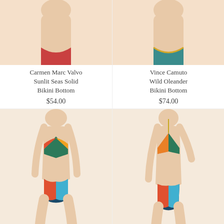[Figure (photo): Model wearing Carmen Marc Valvo Sunlit Seas Solid Bikini Bottom, cropped torso view]
Carmen Marc Valvo Sunlit Seas Solid Bikini Bottom
$54.00
[Figure (photo): Model wearing Vince Camuto Wild Oleander Bikini Bottom, cropped torso view]
Vince Camuto Wild Oleander Bikini Bottom
$74.00
[Figure (photo): Model wearing Body Glove Hero Eclipse Surf Rider Bottoms with colorful tropical print bikini set]
Body Glove Hero Eclipse Surf Rider Bottoms
[Figure (photo): Model wearing Body Glove Hero Fixed Bikini bottom with colorful tropical print bikini set]
Body Glove Hero Fixed Bikini...